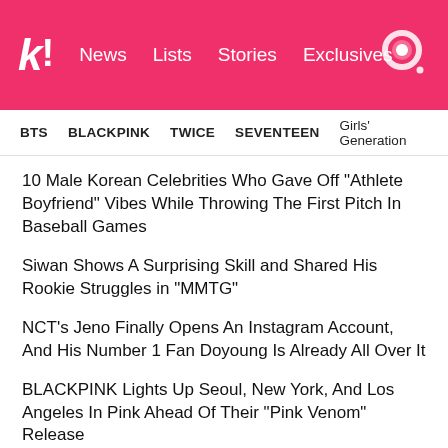koreaboo! News Lists Stories Exclusives
BTS BLACKPINK TWICE SEVENTEEN Girls' Generation
10 Male Korean Celebrities Who Gave Off "Athlete Boyfriend" Vibes While Throwing The First Pitch In Baseball Games
Siwan Shows A Surprising Skill and Shared His Rookie Struggles in "MMTG"
NCT's Jeno Finally Opens An Instagram Account, And His Number 1 Fan Doyoung Is Already All Over It
BLACKPINK Lights Up Seoul, New York, And Los Angeles In Pink Ahead Of Their "Pink Venom" Release
SEVENTEEN Wonwoo's Cover Of IU's "Knees" Is A Heartfelt Ode To His Mother
NEXT ARTICLE